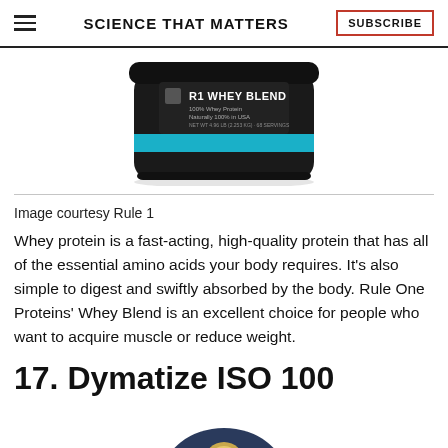SCIENCE THAT MATTERS | SUBSCRIBE
[Figure (photo): Product photo of R1 Whey Blend container, black canister with blue stripe and white text]
Image courtesy Rule 1
Whey protein is a fast-acting, high-quality protein that has all of the essential amino acids your body requires. It's also simple to digest and swiftly absorbed by the body. Rule One Proteins' Whey Blend is an excellent choice for people who want to acquire muscle or reduce weight.
17. Dymatize ISO 100
[Figure (photo): Partial product photo of Dymatize ISO 100 container, circular top with gold badge visible]